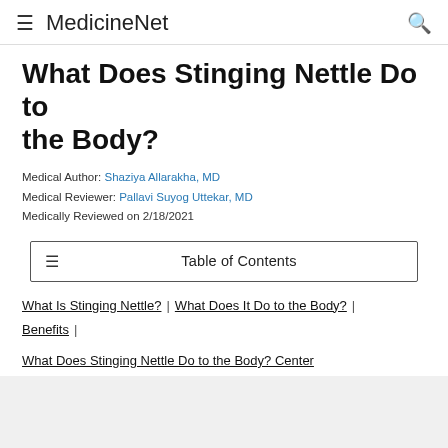MedicineNet
What Does Stinging Nettle Do to the Body?
Medical Author: Shaziya Allarakha, MD
Medical Reviewer: Pallavi Suyog Uttekar, MD
Medically Reviewed on 2/18/2021
Table of Contents
What Is Stinging Nettle?
What Does It Do to the Body?
Benefits
What Does Stinging Nettle Do to the Body? Center